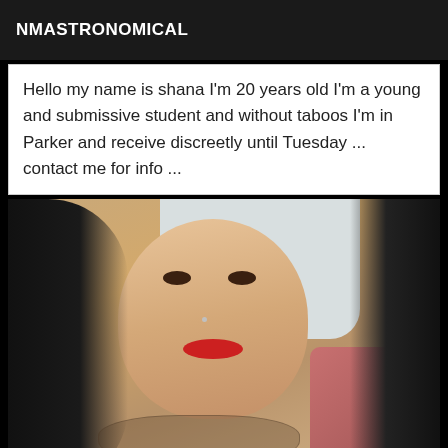NMASTRONOMICAL
Hello my name is shana I'm 20 years old I'm a young and submissive student and without taboos I'm in Parker and receive discreetly until Tuesday ... contact me for info ...
[Figure (photo): Portrait photo of a young woman with long dark hair, red lipstick, nose stud, and a chest tattoo, smiling at the camera]